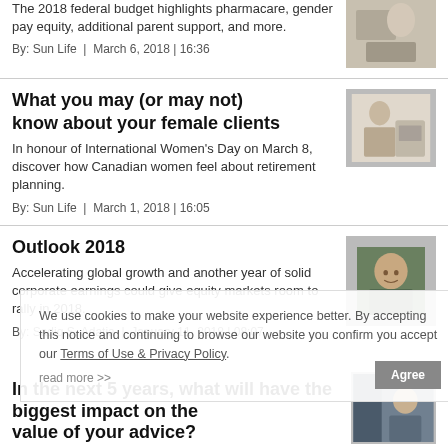The 2018 federal budget highlights pharmacare, gender pay equity, additional parent support, and more.
By: Sun Life | March 6, 2018 | 16:36
What you may (or may not) know about your female clients
In honour of International Women's Day on March 8, discover how Canadian women feel about retirement planning.
By: Sun Life | March 1, 2018 | 16:05
Outlook 2018
Accelerating global growth and another year of solid corporate earnings could give equity markets room to rally in 2018.
By: Sadiq S. Adatia | January 11, 2018 | 08:07
We use cookies to make your website experience better. By accepting this notice and continuing to browse our website you confirm you accept our Terms of Use & Privacy Policy.
In the next 5 years, what will have the biggest impact on the value of your advice?